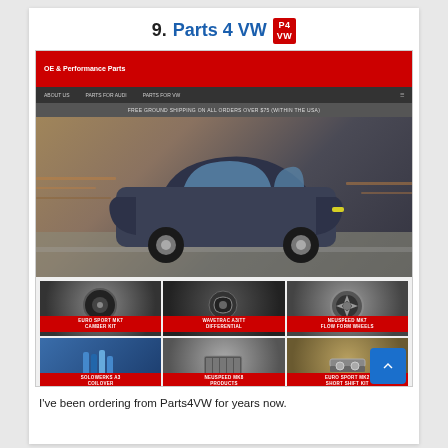9. Parts 4 VW
[Figure (screenshot): Screenshot of Parts4VW website showing a dark blue VW Golf/Mk7 driving on track as hero image, with red header bar showing 'OE & Performance Parts', navigation bar, shipping notification bar, and a product grid below showing 6 products: Euro Sport MK7 Camber Kit, Wavetrac A3/TT Differential, Neuspeed MK7 Flow Form Wheels, Solowerks A3 Coilover, Neuspeed MK8 Products, Euro Sport MK2 Short Shift Kit. A blue scroll-to-top button appears at bottom right.]
I've been ordering from Parts4VW for years now.